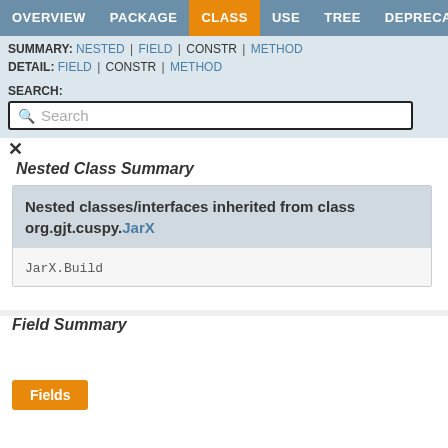OVERVIEW | PACKAGE | CLASS | USE | TREE | DEPRECATED
SUMMARY: NESTED | FIELD | CONSTR | METHOD
DETAIL: FIELD | CONSTR | METHOD
SEARCH:
Nested Class Summary
| Nested classes/interfaces inherited from class org.gjt.cuspy.JarX |
| --- |
| JarX.Build |
Field Summary
Fields